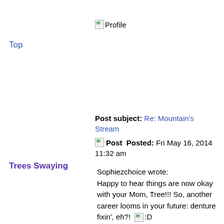Top
[Profile]
Trees Swaying
Post subject: Re: Mountain's Stream
[Post]  Posted: Fri May 16, 2014 11:32 am
Sophiezchoice wrote:
Happy to hear things are now okay with your Mom, Tree!!! So, another career looms in your future: denture fixin', eh?!  [:D]
Thanks Sophie,
So it turns out that the family got